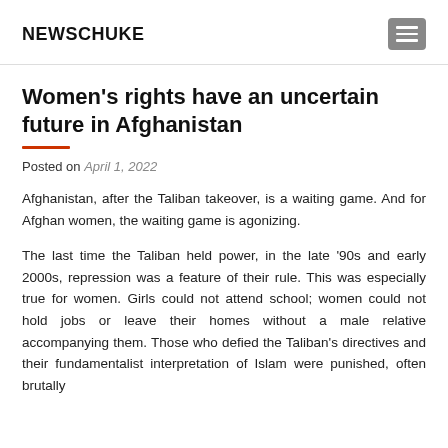NEWSCHUKE
Women's rights have an uncertain future in Afghanistan
Posted on April 1, 2022
Afghanistan, after the Taliban takeover, is a waiting game. And for Afghan women, the waiting game is agonizing.
The last time the Taliban held power, in the late '90s and early 2000s, repression was a feature of their rule. This was especially true for women. Girls could not attend school; women could not hold jobs or leave their homes without a male relative accompanying them. Those who defied the Taliban's directives and their fundamentalist interpretation of Islam were punished, often brutally